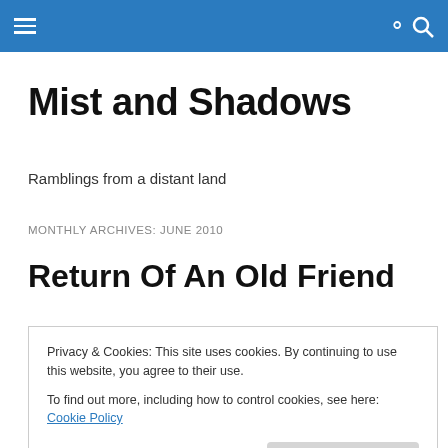Mist and Shadows
Ramblings from a distant land
MONTHLY ARCHIVES: JUNE 2010
Return Of An Old Friend
As some may have noticed, I haven't been posting as
Privacy & Cookies: This site uses cookies. By continuing to use this website, you agree to their use.
To find out more, including how to control cookies, see here: Cookie Policy
Close and accept
A few weeks back I went through an old novel I had